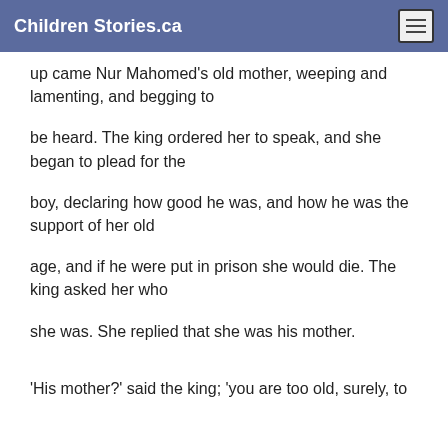Children Stories.ca
up came Nur Mahomed's old mother, weeping and lamenting, and begging to
be heard. The king ordered her to speak, and she began to plead for the
boy, declaring how good he was, and how he was the support of her old
age, and if he were put in prison she would die. The king asked her who
she was. She replied that she was his mother.
'His mother?' said the king; 'you are too old, surely, to